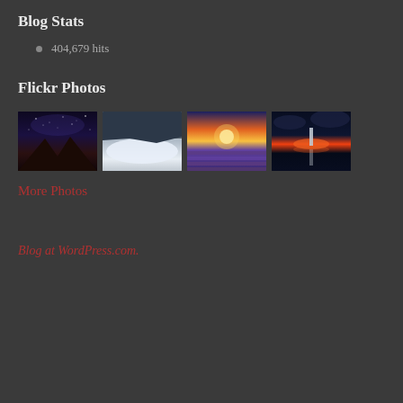Blog Stats
404,679 hits
Flickr Photos
[Figure (photo): Four Flickr photo thumbnails in a horizontal row: 1) Mountain with milky way night sky, 2) Snowy mountain landscape with ice, 3) Sunset over lavender field, 4) Rocket launch reflection at night]
More Photos
Blog at WordPress.com.